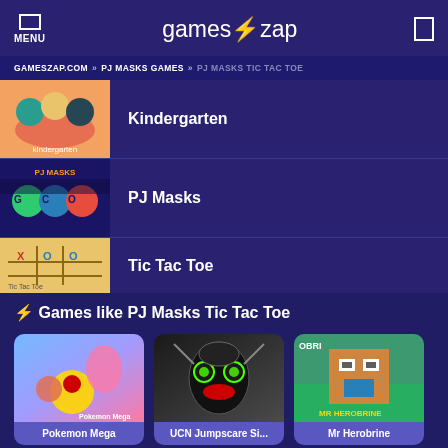MENU | games⚡zap
GAMESZAP.COM » PJ MASKS GAMES » PJ MASKS TIC TAC TOE
Kindergarten
PJ Masks
Tic Tac Toe
⚡ Games like PJ Masks Tic Tac Toe
[Figure (screenshot): Pokemon Mega game thumbnail]
Pokemon Mega
[Figure (screenshot): UCN Jumpscare Si... game thumbnail]
UCN Jumpscare Si...
[Figure (screenshot): Mr Herobrine game thumbnail]
Mr Herobrine